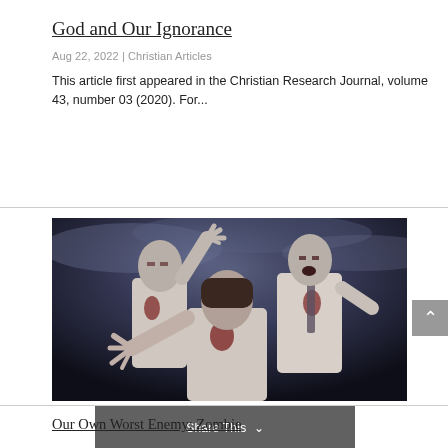God and Our Ignorance
Aug 22, 2022 | Christian Articles
This article first appeared in the Christian Research Journal, volume 43, number 03 (2020). For...
[Figure (photo): Three people dressed as zombies in tattered white shirts, with dark makeup and fake blood, reaching toward the camera against a dark, stormy sky background.]
Our Own Worst Enemy: Zombie